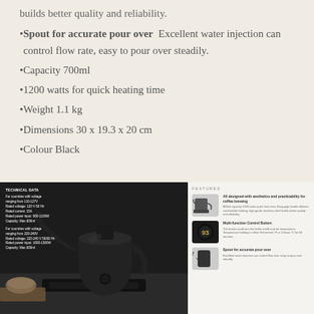builds better quality and reliability.
Spout for accurate pour over  Excellent water injection can control flow rate, easy to pour over steadily.
Capacity 700ml
1200 watts for quick heating time
Weight 1.1 kg
Dimensions 30 x 19.3 x 20 cm
Colour Black
[Figure (photo): Black electric gooseneck kettle on a dark base/stand, shown on a kitchen countertop with bowl and wooden board. Technical data overlay on left side showing voltage/power specs for 110-127V and 220-240V countries.]
[Figure (infographic): Features panel showing three product features: 1) All designed with aesthetics and practicability for coffee brewing - with kettle image thumbnail; 2) Multi-function Control Button - with control knob image thumbnail; 3) Spout for accurate pour over - with spout image thumbnail.]